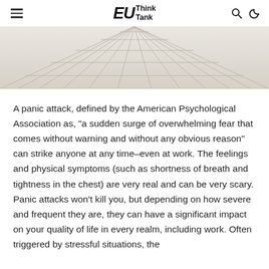EU Think Tank
[Figure (photo): Overhead perspective photo of white wooden planks or bleacher-style steps receding into the distance, light and airy in tone.]
A panic attack, defined by the American Psychological Association as, “a sudden surge of overwhelming fear that comes without warning and without any obvious reason” can strike anyone at any time–even at work. The feelings and physical symptoms (such as shortness of breath and tightness in the chest) are very real and can be very scary. Panic attacks won’t kill you, but depending on how severe and frequent they are, they can have a significant impact on your quality of life in every realm, including work. Often triggered by stressful situations, the